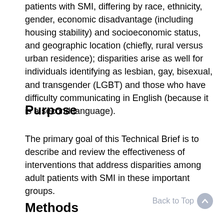patients with SMI, differing by race, ethnicity, gender, economic disadvantage (including housing stability) and socioeconomic status, and geographic location (chiefly, rural versus urban residence); disparities arise as well for individuals identifying as lesbian, gay, bisexual, and transgender (LGBT) and those who have difficulty communicating in English (because it is a second language).
Purpose
The primary goal of this Technical Brief is to describe and review the effectiveness of interventions that address disparities among adult patients with SMI in these important groups.
Methods